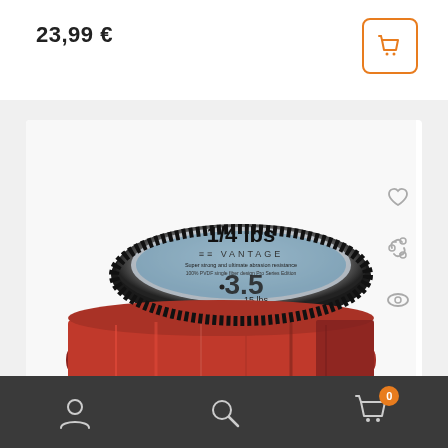23,99 €
[Figure (photo): A spool of red fishing line (monofilament), labeled '1/4 lbs VANTAGE 3.5 15 lbs' on a white background. The spool has a black rim with a label showing water/outdoor imagery.]
Navigation bar with user account icon, search icon, and shopping cart icon with badge showing 0